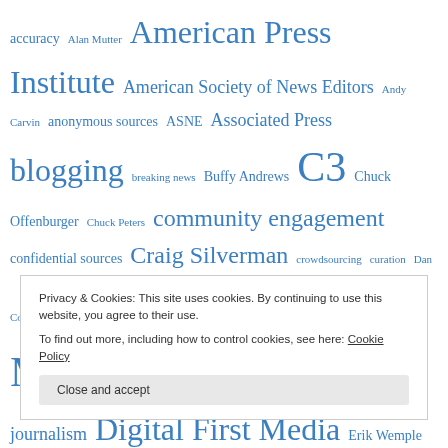[Figure (infographic): Tag cloud of journalism-related terms in blue, varying font sizes indicating frequency/importance. Terms include: accuracy, Alan Mutter, American Press Institute, American Society of News Editors, Andy Carvin, anonymous sources, ASNE, Associated Press, blogging, breaking news, Buffy Andrews, C3, Chuck Offenburger, Chuck Peters, community engagement, confidential sources, Craig Silverman, crowdsourcing, curation, Dan Conover, Dan Gillmor, Dean Baquet, Denver Post, Des Moines Register, Digital First journalism, Digital First Media, Erik Wemple, Facebook, Flickr, Gazette, Gene Weingarten, Google, Howard Owens, Ivan Lajara, Jay Rosen, Jeff Jarvis, Jeff Sonderman, Jim Brady]
Privacy & Cookies: This site uses cookies. By continuing to use this website, you agree to their use. To find out more, including how to control cookies, see here: Cookie Policy